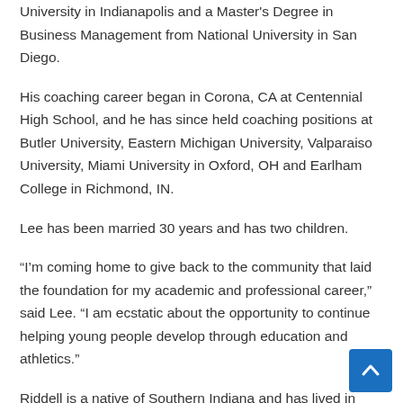University in Indianapolis and a Master's Degree in Business Management from National University in San Diego.
His coaching career began in Corona, CA at Centennial High School, and he has since held coaching positions at Butler University, Eastern Michigan University, Valparaiso University, Miami University in Oxford, OH and Earlham College in Richmond, IN.
Lee has been married 30 years and has two children.
“I’m coming home to give back to the community that laid the foundation for my academic and professional career,” said Lee. “I am ecstatic about the opportunity to continue helping young people develop through education and athletics.”
Riddell is a native of Southern Indiana and has lived in Northern Indiana his entire adult life. He is a graduate of Indiana State University where he received a Bachelor’s Degree in Information...